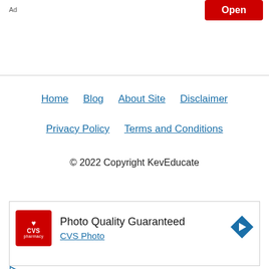Ad
Open
Home
Blog
About Site
Disclaimer
Privacy Policy
Terms and Conditions
© 2022 Copyright KevEducate
[Figure (other): CVS Pharmacy advertisement: Photo Quality Guaranteed, CVS Photo, with red CVS pharmacy logo and blue diamond arrow icon]